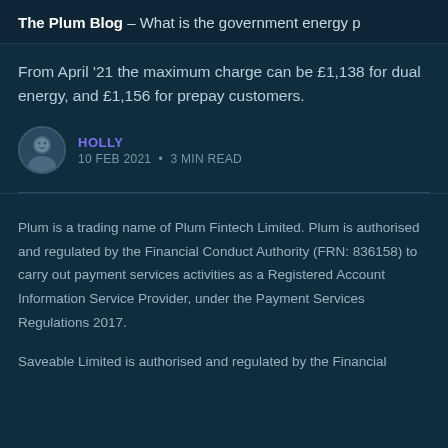The Plum Blog – What is the government energy p
From April '21 the maximum charge can be £1,138 for dual energy, and £1,156 for prepay customers.
HOLLY
10 FEB 2021 • 3 MIN READ
Plum is a trading name of Plum Fintech Limited. Plum is authorised and regulated by the Financial Conduct Authority (FRN: 836158) to carry out payment services activities as a Registered Account Information Service Provider, under the Payment Services Regulations 2017.
Saveable Limited is authorised and regulated by the Financial